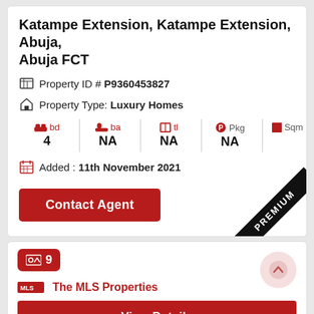Katampe Extension, Katampe Extension, Abuja, Abuja FCT
Property ID # P9360453827
Property Type: Luxury Homes
| bd | ba | tl | Pkg | Sqm |
| --- | --- | --- | --- | --- |
| 4 | NA | NA | NA |  |
Added : 11th November 2021
Contact Agent
[Figure (other): PREMIUM ribbon badge in bottom-right corner of property card]
[Figure (other): Image count badge showing 9 photos]
The MLS Properties
View Details